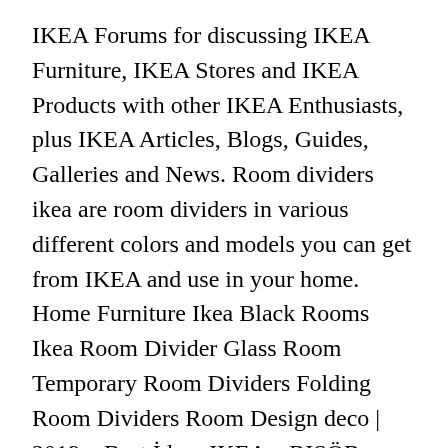IKEA Forums for discussing IKEA Furniture, IKEA Stores and IKEA Products with other IKEA Enthusiasts, plus IKEA Articles, Blogs, Guides, Galleries and News. Room dividers ikea are room dividers in various different colors and models you can get from IKEA and use in your home. Home Furniture Ikea Black Rooms Ikea Room Divider Glass Room Temporary Room Dividers Folding Room Dividers Room Design deco | 2019 – Best İdeas IKEA – RISÖR, room divider, made of solid wood, a durable and warm natural material. See more ideas about interior, interior design, room. If you want to divide your living room and your kitchen, sliding doors by IKEA will do its job very well. The Incredible IKEA Room Divider Panels Room